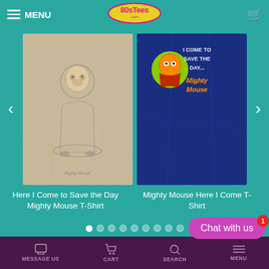MENU | 80sTees.com | Cart
[Figure (photo): T-shirt product image on beige/tan fabric showing a cartoon monkey character (Mighty Mouse themed) with illustrated design]
[Figure (photo): T-shirt product image on navy blue fabric showing Mighty Mouse character with text 'I Come to Save the Day... Mighty Mouse']
Here I Come to Save the Day Mighty Mouse T-Shirt
Mighty Mouse Here I Come T-Shirt
Chat with us
MESSAGE US   CART   SEARCH   MENU